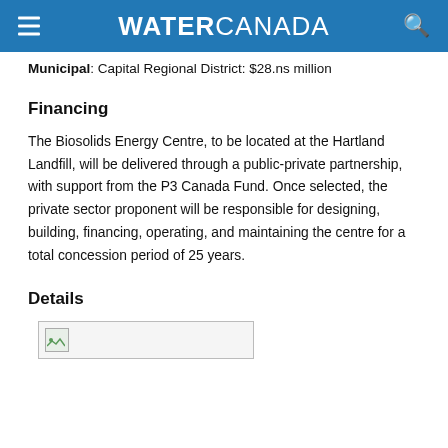WATER CANADA
Municipal: Capital Regional District: $28.ns million
Financing
The Biosolids Energy Centre, to be located at the Hartland Landfill, will be delivered through a public-private partnership, with support from the P3 Canada Fund. Once selected, the private sector proponent will be responsible for designing, building, financing, operating, and maintaining the centre for a total concession period of 25 years.
Details
[Figure (other): Broken/placeholder image thumbnail]